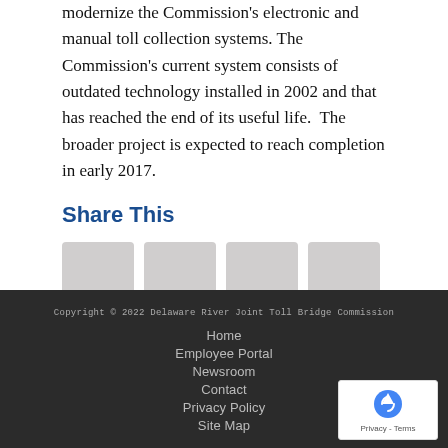modernize the Commission's electronic and manual toll collection systems. The Commission's current system consists of outdated technology installed in 2002 and that has reached the end of its useful life.  The broader project is expected to reach completion in early 2017.
Share This
[Figure (other): Four social media share icon buttons (grey squares)]
Copyright © 2022 Delaware River Joint Toll Bridge Commission
Home
Employee Portal
Newsroom
Contact
Privacy Policy
Site Map